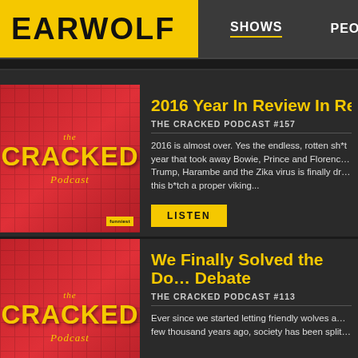EARWOLF — SHOWS  PEOPLE
2016 Year In Review In Re...
THE CRACKED PODCAST #157
2016 is almost over. Yes the endless, rotten sh*t year that took away Bowie, Prince and Florence and Trump, Harambe and the Zika virus is finally dr... this b*tch a proper viking...
LISTEN
We Finally Solved the Do... Debate
THE CRACKED PODCAST #113
Ever since we started letting friendly wolves a... few thousand years ago, society has been split...